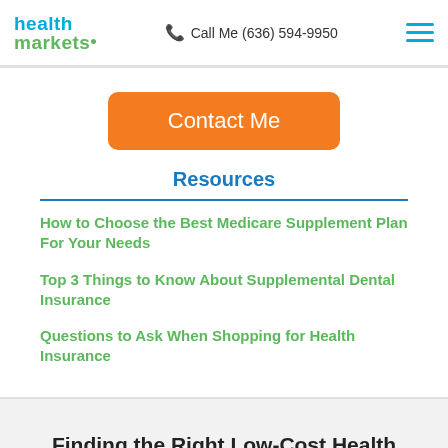health markets | Call Me (636) 594-9950
Contact Me
Resources
How to Choose the Best Medicare Supplement Plan For Your Needs
Top 3 Things to Know About Supplemental Dental Insurance
Questions to Ask When Shopping for Health Insurance
Finding the Right Low-Cost Health